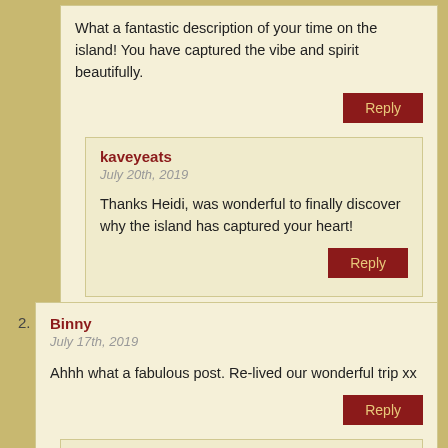What a fantastic description of your time on the island! You have captured the vibe and spirit beautifully.
Reply
kaveyeats
July 20th, 2019
Thanks Heidi, was wonderful to finally discover why the island has captured your heart!
Reply
2.
Binny
July 17th, 2019
Ahhh what a fabulous post. Re-lived our wonderful trip xx
Reply
kaveyeats
July 20th, 2019